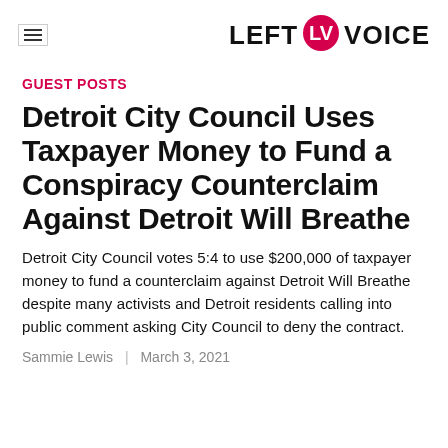LEFT VOICE
GUEST POSTS
Detroit City Council Uses Taxpayer Money to Fund a Conspiracy Counterclaim Against Detroit Will Breathe
Detroit City Council votes 5:4 to use $200,000 of taxpayer money to fund a counterclaim against Detroit Will Breathe despite many activists and Detroit residents calling into public comment asking City Council to deny the contract.
Sammie Lewis | March 3, 2021